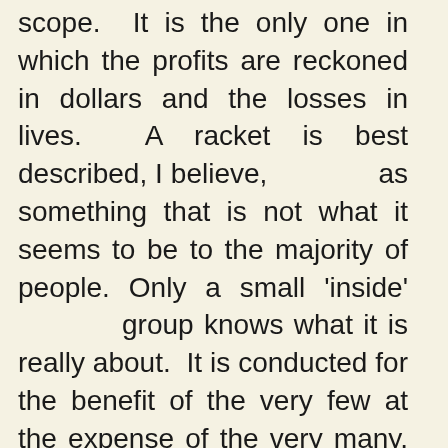scope. It is the only one in which the profits are reckoned in dollars and the losses in lives. A racket is best described, I believe, as something that is not what it seems to be to the majority of people. Only a small 'inside' group knows what it is really about. It is conducted for the benefit of the very few at the expense of the very many. Out of war a few people make huge fortunes." Another